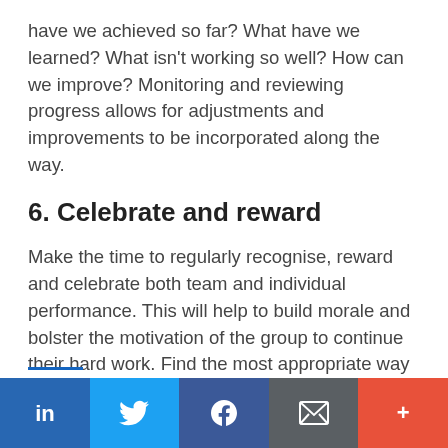have we achieved so far? What have we learned? What isn't working so well? How can we improve? Monitoring and reviewing progress allows for adjustments and improvements to be incorporated along the way.
6. Celebrate and reward
Make the time to regularly recognise, reward and celebrate both team and individual performance. This will help to build morale and bolster the motivation of the group to continue their hard work. Find the most appropriate way to celebrate team milestones, such as a personal ‘thank you’ at a team meeting, an email copied